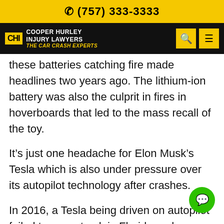(757) 333-3333
[Figure (logo): Cooper Hurley Injury Lawyers - The Car Crash Experts logo on black navigation bar with search and menu icons]
these batteries catching fire made headlines two years ago. The lithium-ion battery was also the culprit in fires in hoverboards that led to the mass recall of the toy.
It’s just one headache for Elon Musk’s Tesla which is also under pressure over its autopilot technology after crashes.
In 2016, a Tesla being driven on autopilot failed to see a truck in Florida and crashed into it, killing the Tesla driver and prompting an NTSA investigation.